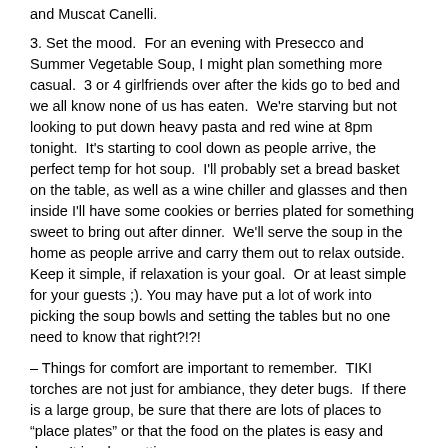and Muscat Canelli.
3. Set the mood.  For an evening with Presecco and Summer Vegetable Soup, I might plan something more casual.  3 or 4 girlfriends over after the kids go to bed and we all know none of us has eaten.  We're starving but not looking to put down heavy pasta and red wine at 8pm tonight.  It's starting to cool down as people arrive, the perfect temp for hot soup.  I'll probably set a bread basket on the table, as well as a wine chiller and glasses and then inside I'll have some cookies or berries plated for something sweet to bring out after dinner.  We'll serve the soup in the home as people arrive and carry them out to relax outside.  Keep it simple, if relaxation is your goal.  Or at least simple for your guests ;). You may have put a lot of work into picking the soup bowls and setting the tables but no one need to know that right?!?!
– Things for comfort are important to remember.  TIKI torches are not just for ambiance, they deter bugs.  If there is a large group, be sure that there are lots of places to "place plates" or that the food on the plates is easy and doesn't involve cutting.
– Members of the group should...